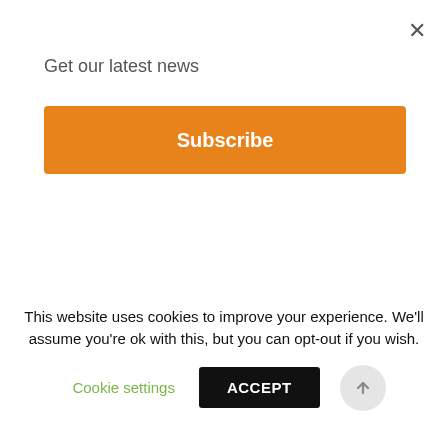Get our latest news
[Figure (other): Orange Subscribe button]
The decisive victory comes with very high hopes and expectations. The citizens voted in favour of an anticorruption agenda and against the oligarchic system. And this is what they expect: quick results in the fight against corruption and better economic perspectives. Resistance to reform is, however, extremely high in a country riddled with corruption and organised crime. The results of the elections
This website uses cookies to improve your experience. We'll assume you're ok with this, but you can opt-out if you wish.
Cookie settings
ACCEPT